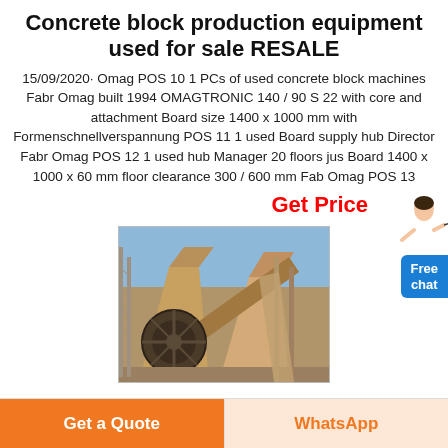Concrete block production equipment used for sale RESALE
15/09/2020· Omag POS 10 1 PCs of used concrete block machines Fabr Omag built 1994 OMAGTRONIC 140 / 90 S 22 with core and attachment Board size 1400 x 1000 mm with Formenschnellverspannung POS 11 1 used Board supply hub Director Fabr Omag POS 12 1 used hub Manager 20 floors just Board 1400 x 1000 x 60 mm floor clearance 300 / 600 mm Fabr Omag POS 13
Get Price
[Figure (photo): Photograph of used concrete block production equipment/machine, showing industrial machinery with large wheel and conveyor components in an outdoor setting]